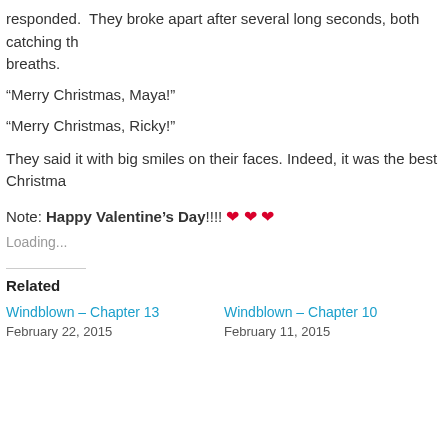responded. They broke apart after several long seconds, both catching their breaths.
“Merry Christmas, Maya!”
“Merry Christmas, Ricky!”
They said it with big smiles on their faces. Indeed, it was the best Christma…
Note: Happy Valentine’s Day!!!! ❤ ❤ ❤
Loading...
Related
Windblown – Chapter 13
February 22, 2015
Windblown – Chapter 10
February 11, 2015